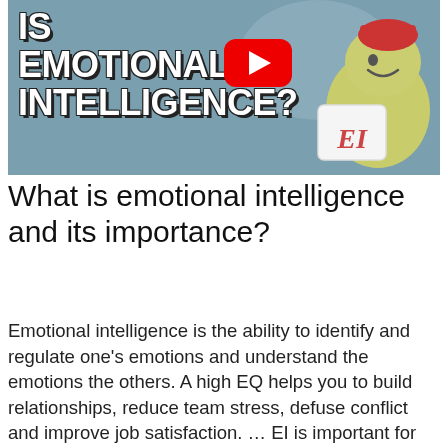[Figure (screenshot): YouTube video thumbnail with bold white text reading 'IS EMOTIONAL INTELLIGENCE?' on a teal/blue-green background, with a cartoon character holding an EI card on the right, and a YouTube play button in the center-top area.]
What is emotional intelligence and its importance?
Emotional intelligence is the ability to identify and regulate one’s emotions and understand the emotions the others. A high EQ helps you to build relationships, reduce team stress, defuse conflict and improve job satisfaction. … EI is important for everyone who wants to be career ready.